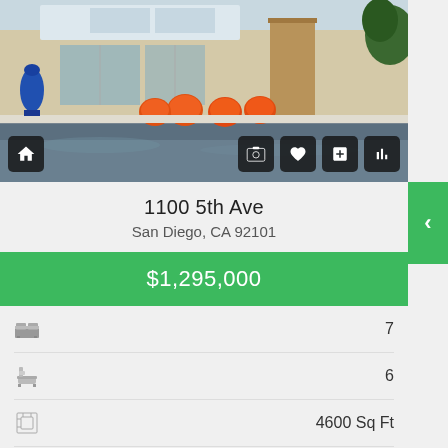[Figure (photo): Exterior photo of luxury home with pool, orange spherical chairs, modern architecture]
1100 5th Ave
San Diego, CA 92101
$1,295,000
Bedrooms: 7
Bathrooms: 6
Square Feet: 4600 Sq Ft
Price Per Sq Ft: $
Single Family Home